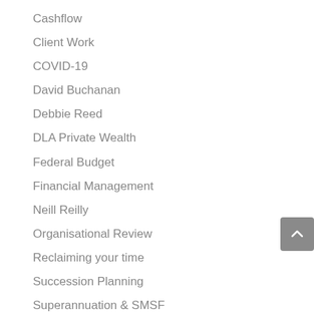Cashflow
Client Work
COVID-19
David Buchanan
Debbie Reed
DLA Private Wealth
Federal Budget
Financial Management
Neill Reilly
Organisational Review
Reclaiming your time
Succession Planning
Superannuation & SMSF
Tax & Compliance